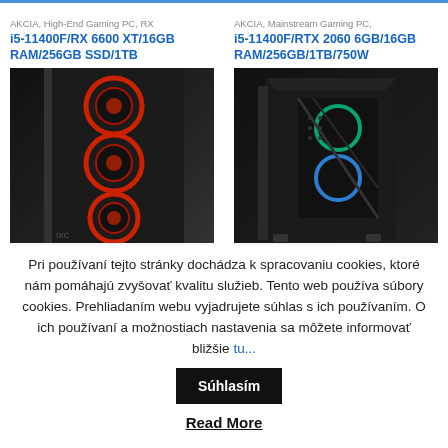AKCIA, High-End Gaming PC, RX
i5-11400F/RX 6600 XT/16GB RAM/256GB SSD/1TB
[Figure (photo): Black gaming PC case with three red ring fans visible through tempered glass side panel]
AKCIA, Mainstream Gaming PC,
i5-11400F/RTX 2060 6GB/16GB RAM/256GB/1TB/750W
[Figure (photo): Black angular gaming PC case with RGB fans and mesh front panel]
Pri používaní tejto stránky dochádza k spracovaniu cookies, ktoré nám pomáhajú zvyšovať kvalitu služieb. Tento web používa súbory cookies. Prehliadaním webu vyjadrujete súhlas s ich používaním. O ich používaní a možnostiach nastavenia sa môžete informovať bližšie tu...
Súhlasím
Read More